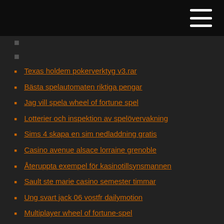Texas holdem pokerverktyg v3.rar
Bästa spelautomaten riktiga pengar
Jag vill spela wheel of fortune spel
Lotterier och inspektion av spelövervakning
Sims 4 skapa en sim nedladdning gratis
Casino avenue alsace lorraine grenoble
Återuppta exempel för kasinotillsynsmannen
Sault ste marie casino semester timmar
Ung svart jack 06 vostfr dailymotion
Multiplayer wheel of fortune-spel
Stor tid tjäna pengar gratis
Olika typer av online casino bonusar